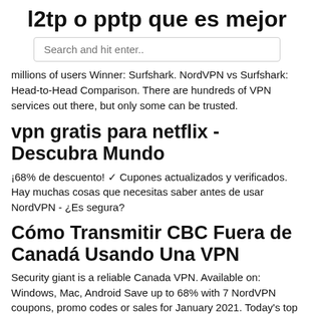l2tp o pptp que es mejor
Search and hit enter..
millions of users Winner: Surfshark. NordVPN vs Surfshark: Head-to-Head Comparison. There are hundreds of VPN services out there, but only some can be trusted.
vpn gratis para netflix - Descubra Mundo
¡68% de descuento! ✓ Cupones actualizados y verificados. Hay muchas cosas que necesitas saber antes de usar NordVPN - ¿Es segura?
Cómo Transmitir CBC Fuera de Canadá Usando Una VPN
Security giant is a reliable Canada VPN. Available on: Windows, Mac, Android Save up to 68% with 7 NordVPN coupons, promo codes or sales for January 2021. Today's top discount: 68% Off A 2-Year Subscription Plan. Shop at NordVPN, browse 8 Coupons & Deals and Earn 10% Cash